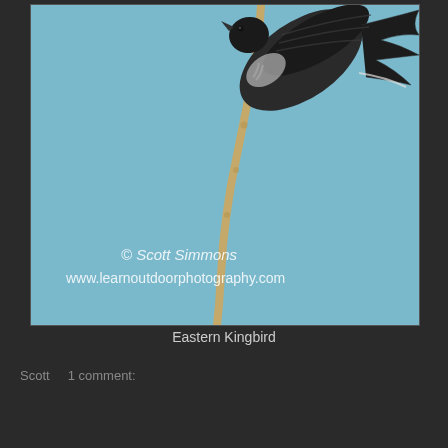[Figure (photo): A bird (Eastern Kingbird) perched on a thin bare branch against a light blue sky, photographed from below at an angle. The bird appears dark/black with white-tipped tail. Watermark reads '© Scott Simmons www.learnoutdoorphotography.com']
Eastern Kingbird
Scott   1 comment:
Share